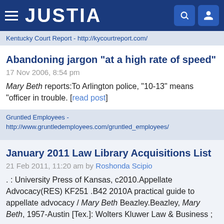JUSTIA
Kentucky Court Report - http://kycourtreport.com/
Abandoning jargon "at a high rate of speed"
17 Nov 2006, 8:54 pm
Mary Beth reports:To Arlington police, "10-13" means "officer in trouble. [read post]
Gruntled Employees - http://www.gruntledemployees.com/gruntled_employees/
January 2011 Law Library Acquisitions List
21 Feb 2011, 11:20 am by Roshonda Scipio
. : University Press of Kansas, c2010.Appellate Advocacy(RES) KF251 .B42 2010A practical guide to appellate advocacy / Mary Beth Beazley.Beazley, Mary Beth, 1957-Austin [Tex.]: Wolters Kluwer Law & Business ;